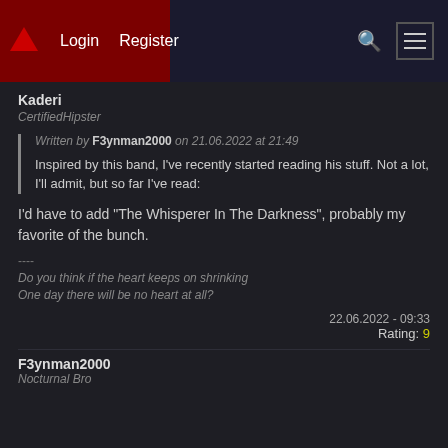Login  Register
Kaderi
CertifiedHipster
Written by F3ynman2000 on 21.06.2022 at 21:49
Inspired by this band, I've recently started reading his stuff. Not a lot, I'll admit, but so far I've read:
I'd have to add "The Whisperer In The Darkness", probably my favorite of the bunch.
----
Do you think if the heart keeps on shrinking
One day there will be no heart at all?
22.06.2022 - 09:33
Rating: 9
F3ynman2000
Nocturnal Bro